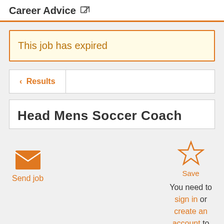Career Advice
This job has expired
< Results
Head Mens Soccer Coach
Send job
Save
You need to sign in or create an account to save a job.